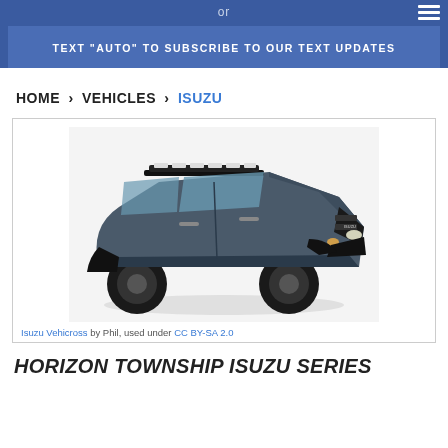or
TEXT "AUTO" TO SUBSCRIBE TO OUR TEXT UPDATES
HOME > VEHICLES > ISUZU
[Figure (photo): Black Isuzu Vehicross SUV with off-road tires, roof rack and auxiliary lights, photographed from a front three-quarter angle on a white background.]
Isuzu Vehicross by Phil, used under CC BY-SA 2.0
Horizon Township Isuzu Series